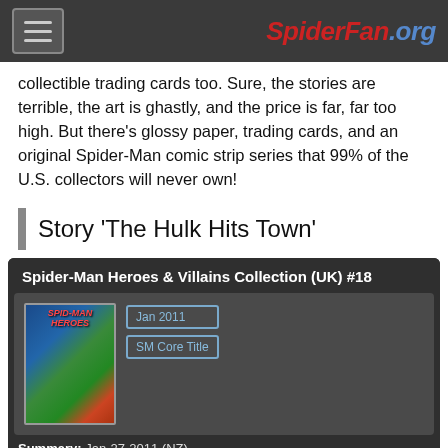SpiderFan.org
collectible trading cards too. Sure, the stories are terrible, the art is ghastly, and the price is far, far too high. But there's glossy paper, trading cards, and an original Spider-Man comic strip series that 99% of the U.S. collectors will never own!
Story 'The Hulk Hits Town'
| Spider-Man Heroes & Villains Collection (UK) #18 |
| --- |
| Jan 2011 | SM Core Title |
| Summary: Jan-27-2011 (NZ) |  |
| Publisher: Eaglemoss Publications, Inc. |  |
| Writer: Glenn Dakin |  |